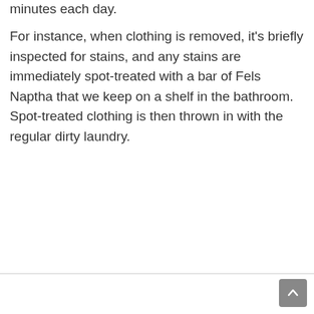minutes each day.
For instance, when clothing is removed, it's briefly inspected for stains, and any stains are immediately spot-treated with a bar of Fels Naptha that we keep on a shelf in the bathroom. Spot-treated clothing is then thrown in with the regular dirty laundry.